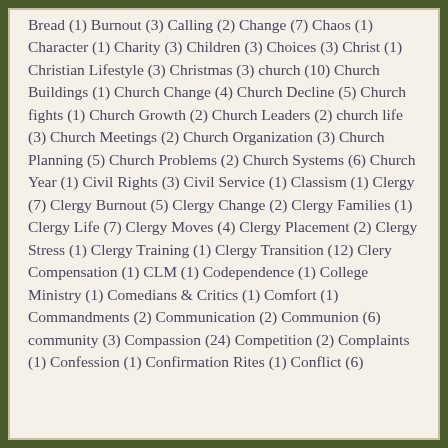Bread (1) Burnout (3) Calling (2) Change (7) Chaos (1) Character (1) Charity (3) Children (3) Choices (3) Christ (1) Christian Lifestyle (3) Christmas (3) church (10) Church Buildings (1) Church Change (4) Church Decline (5) Church fights (1) Church Growth (2) Church Leaders (2) church life (3) Church Meetings (2) Church Organization (3) Church Planning (5) Church Problems (2) Church Systems (6) Church Year (1) Civil Rights (3) Civil Service (1) Classism (1) Clergy (7) Clergy Burnout (5) Clergy Change (2) Clergy Families (1) Clergy Life (7) Clergy Moves (4) Clergy Placement (2) Clergy Stress (1) Clergy Training (1) Clergy Transition (12) Clery Compensation (1) CLM (1) Codependence (1) College Ministry (1) Comedians & Critics (1) Comfort (1) Commandments (2) Communication (2) Communion (6) community (3) Compassion (24) Competition (2) Complaints (1) Confession (1) Confirmation Rites (1) Conflict (6)